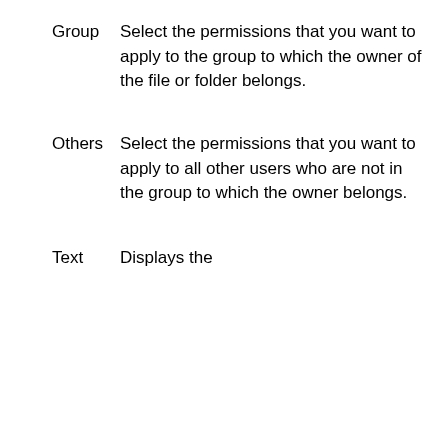Group	Select the permissions that you want to apply to the group to which the owner of the file or folder belongs.
Others	Select the permissions that you want to apply to all other users who are not in the group to which the owner belongs.
Text	Displays the